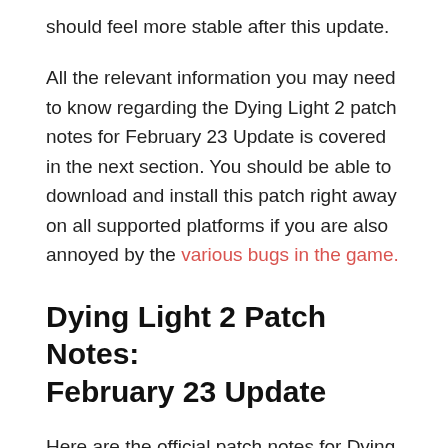should feel more stable after this update.
All the relevant information you may need to know regarding the Dying Light 2 patch notes for February 23 Update is covered in the next section. You should be able to download and install this patch right away on all supported platforms if you are also annoyed by the various bugs in the game.
Dying Light 2 Patch Notes: February 23 Update
Here are the official patch notes for Dying Light 2 February 23 Update that is now rolling out to all the supported platforms of the game: